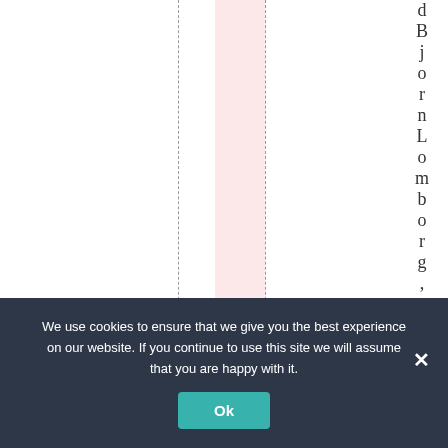[Figure (other): Partial view of a table or layout with dashed vertical lines, a pink highlighted column, and vertical rotated text reading 'dBjornLomborg, sres' on the right side.]
We use cookies to ensure that we give you the best experience on our website. If you continue to use this site we will assume that you are happy with it.